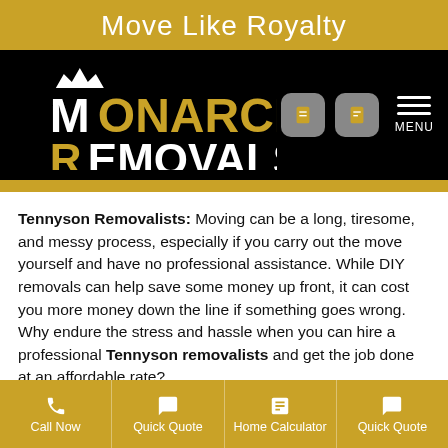Move Like Royalty
[Figure (logo): Monarch Removals Premium Removalists logo with gold and white lettering on black background, with navigation menu icons]
Tennyson Removalists: Moving can be a long, tiresome, and messy process, especially if you carry out the move yourself and have no professional assistance. While DIY removals can help save some money up front, it can cost you more money down the line if something goes wrong. Why endure the stress and hassle when you can hire a professional Tennyson removalists and get the job done at an affordable rate?
Professional removalists Tennyson pack, load, transport, and upload customers' possessions and help them move
Call Now | Quick Quote | Home Calculator | Quick Quote